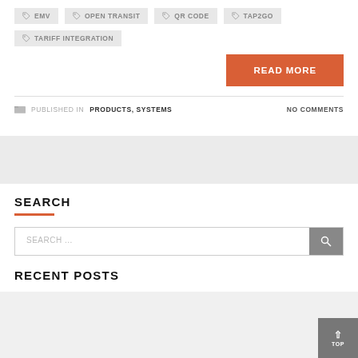EMV
OPEN TRANSIT
QR CODE
TAP2GO
TARIFF INTEGRATION
READ MORE
PUBLISHED IN PRODUCTS, SYSTEMS   NO COMMENTS
SEARCH
SEARCH ...
RECENT POSTS